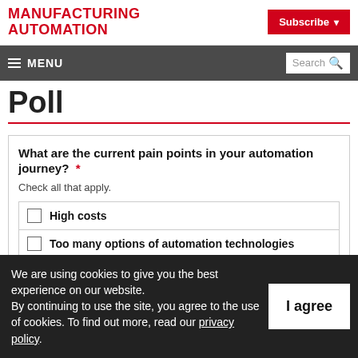MANUFACTURING AUTOMATION
Subscribe
≡ MENU | Search
Poll
What are the current pain points in your automation journey? * Check all that apply.
High costs
Too many options of automation technologies
Lack of comprehensive information
We are using cookies to give you the best experience on our website. By continuing to use the site, you agree to the use of cookies. To find out more, read our privacy policy.